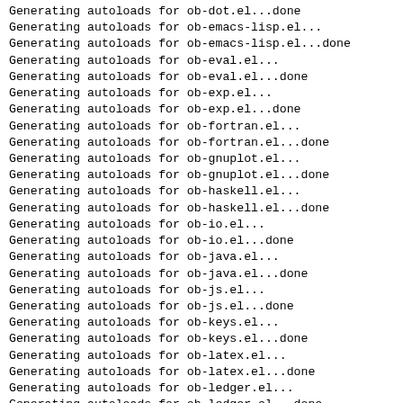Generating autoloads for ob-dot.el...done
Generating autoloads for ob-emacs-lisp.el...
Generating autoloads for ob-emacs-lisp.el...done
Generating autoloads for ob-eval.el...
Generating autoloads for ob-eval.el...done
Generating autoloads for ob-exp.el...
Generating autoloads for ob-exp.el...done
Generating autoloads for ob-fortran.el...
Generating autoloads for ob-fortran.el...done
Generating autoloads for ob-gnuplot.el...
Generating autoloads for ob-gnuplot.el...done
Generating autoloads for ob-haskell.el...
Generating autoloads for ob-haskell.el...done
Generating autoloads for ob-io.el...
Generating autoloads for ob-io.el...done
Generating autoloads for ob-java.el...
Generating autoloads for ob-java.el...done
Generating autoloads for ob-js.el...
Generating autoloads for ob-js.el...done
Generating autoloads for ob-keys.el...
Generating autoloads for ob-keys.el...done
Generating autoloads for ob-latex.el...
Generating autoloads for ob-latex.el...done
Generating autoloads for ob-ledger.el...
Generating autoloads for ob-ledger.el...done
Generating autoloads for ob-lilypond.el...
Generating autoloads for ob-lilypond.el...done
Generating autoloads for ob-lisp.el...
Generating autoloads for ob-lisp.el...done
Generating autoloads for ob-lob.el...